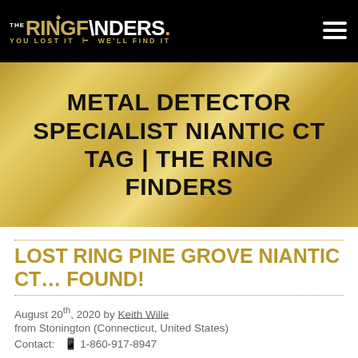THE RINGFINDERS. YOU LOST IT — WE'LL FIND IT
METAL DETECTOR SPECIALIST NIANTIC CT TAG | THE RING FINDERS
LOST RING PINE GROVE NIANTIC CT... FOUND!
August 20th, 2020 by Keith Wille from Stonington (Connecticut, United States)
Contact: 1-860-917-8947